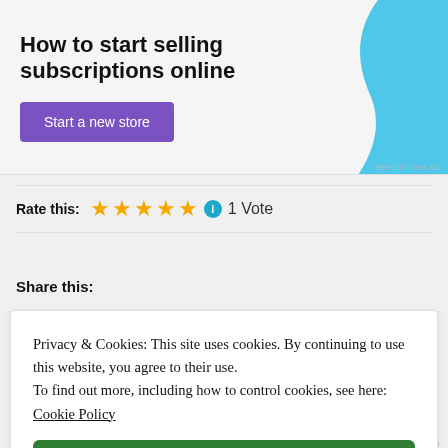[Figure (illustration): Advertisement banner with text 'How to start selling subscriptions online', a purple 'Start a new store' button, and a light blue decorative shape on the right.]
Rate this:  ★★★★★ ℹ 1 Vote
Share this:
Privacy & Cookies: This site uses cookies. By continuing to use this website, you agree to their use.
To find out more, including how to control cookies, see here: Cookie Policy
Close and accept